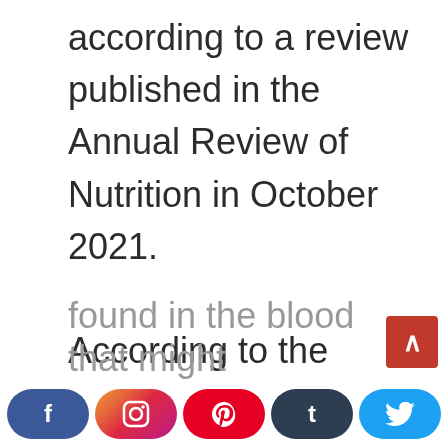according to a review published in the Annual Review of Nutrition in October 2021. According to the CDC, LDL cholesterol can increase your heart disease or stroke risk. According to the Mayo Clinic, IF also lowered triglycerides, lip...
found in the blood that might...